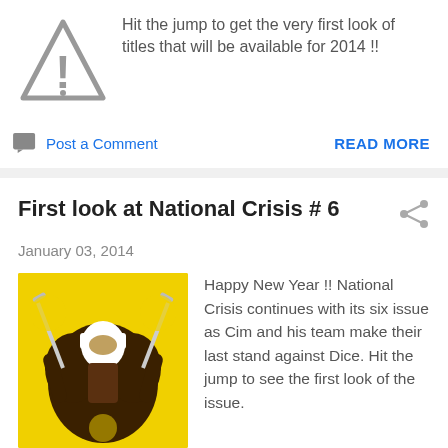[Figure (illustration): Warning triangle icon with exclamation mark]
Hit the jump to get the very first look of titles that will be available for 2014 !!
Post a Comment
READ MORE
First look at National Crisis # 6
January 03, 2014
[Figure (illustration): Comic book cover showing armored characters on yellow background]
Happy New Year !! National Crisis continues with its six issue as Cim and his team make their last stand against Dice. Hit the jump to see the first look of the issue.
Post a Comment
READ MORE